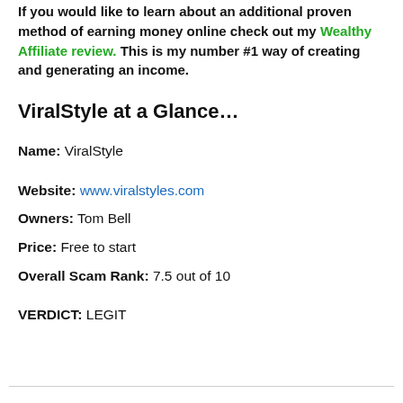If you would like to learn about an additional proven method of earning money online check out my Wealthy Affiliate review. This is my number #1 way of creating and generating an income.
ViralStyle at a Glance…
Name: ViralStyle
Website: www.viralstyles.com
Owners: Tom Bell
Price: Free to start
Overall Scam Rank: 7.5 out of 10
VERDICT: LEGIT